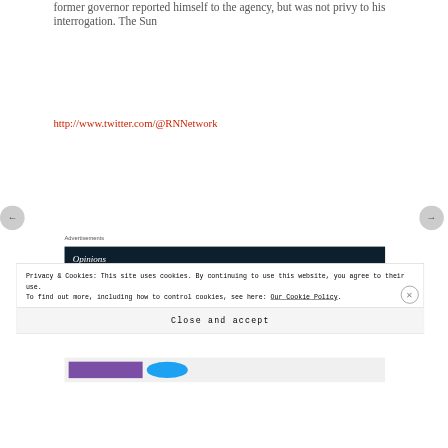former governor reported himself to the agency, but was not privy to his interrogation. The Sun
http://www.twitter.com/@RNNetwork
Advertisements
[Figure (screenshot): Dark advertisement banner with text partially visible]
Privacy & Cookies: This site uses cookies. By continuing to use this website, you agree to their use.
To find out more, including how to control cookies, see here: Our Cookie Policy
Close and accept